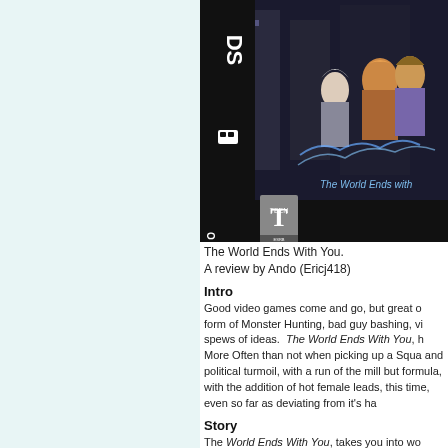[Figure (photo): Nintendo DS game box cover for The World Ends With You, showing anime characters and Nintendo DS logo with Teen ESRB rating]
The World Ends With You.
A review by Ando (Ericj418)
Intro
Good video games come and go, but great ones come in the form of Monster Hunting, bad guy bashing, vi... spews of ideas.  The World Ends With You, h... More Often than not when picking up a Squa... and political turmoil, with a run of the mill but formula, with the addition of hot female leads, this time, even so far as deviating from it's ha...
Story
The World Ends With You, takes you into won... world around.  Neku with his huge soon to be... own devices, is suddenly thrust into a mysteri...